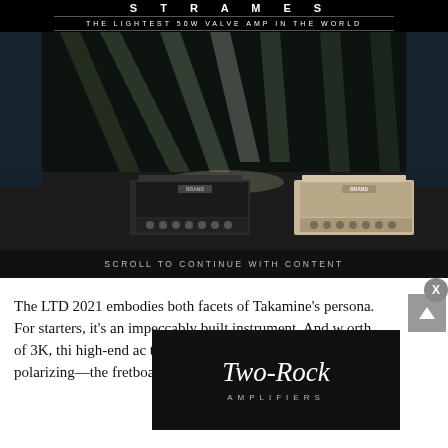[Figure (photo): Advertisement for guitar amplifiers on a dark stage with dramatic green/white stage lighting beams. Two guitar amplifier heads visible at bottom of image — one black, one tan/beige — both labeled with a brand name. Black background with white text at top reading partial brand name and 'THE LIGHTEST 50W VALVE AMP IN THE WORLD'.]
SCROLL TO CONTINUE WITH CONTENT
The LTD 2021 embodies both facets of Takamine's persona. For starters, it's an impeccably built instrument. And w[...] orth of 3K, thi[...] high-end ac[...] the design likely to be the most polarizing—the fretboard inlay
[Figure (logo): Two-Rock Amplifiers logo — white script text 'Two-Rock' with 'AMPLIFIERS' in small caps below, on black background overlay ad unit.]